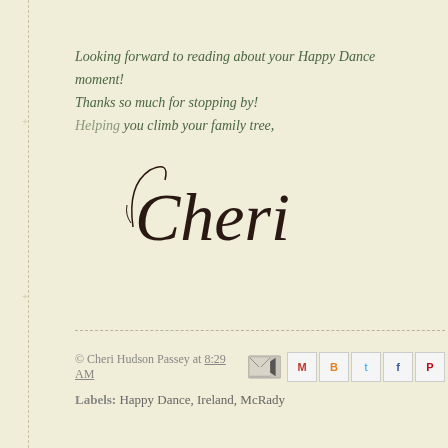Looking forward to reading about your Happy Dance moment! Thanks so much for stopping by! Helping you climb your family tree,
[Figure (illustration): Cursive script signature reading 'Cheri' in dark brown/black decorative font]
© Cheri Hudson Passey at 8:29 AM  Labels: Happy Dance, Ireland, McRady